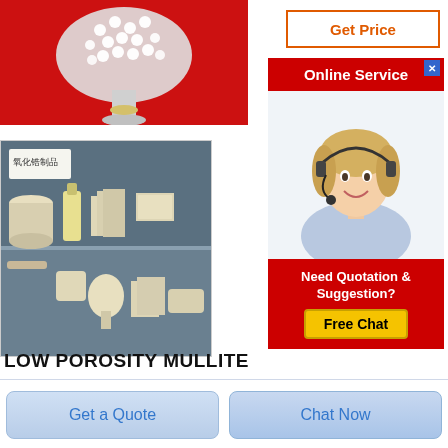[Figure (photo): White ceramic beads in a glass flask on a red background]
[Figure (photo): Shelf display of zirconia ceramic products including blocks, tubes, and powder, with Chinese label reading 氧化锆制品]
[Figure (infographic): Get Price button with orange border and text]
[Figure (infographic): Online Service chat widget with red header, female agent photo, Need Quotation & Suggestion text, and Free Chat yellow button]
LOW POROSITY MULLITE
Get a Quote
Chat Now